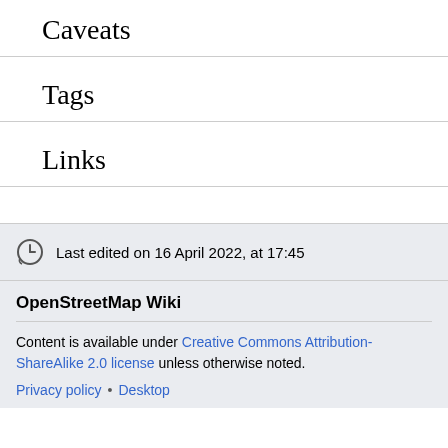Caveats
Tags
Links
Last edited on 16 April 2022, at 17:45
OpenStreetMap Wiki
Content is available under Creative Commons Attribution-ShareAlike 2.0 license unless otherwise noted.
Privacy policy • Desktop